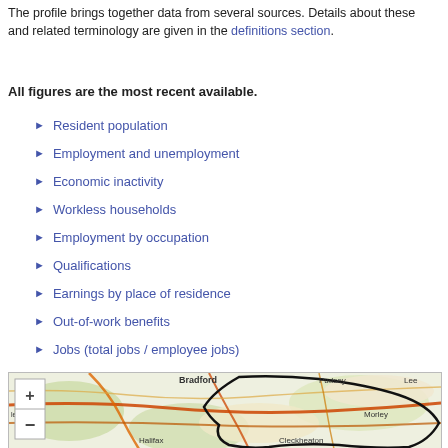The profile brings together data from several sources. Details about these and related terminology are given in the definitions section.
All figures are the most recent available.
Resident population
Employment and unemployment
Economic inactivity
Workless households
Employment by occupation
Qualifications
Earnings by place of residence
Out-of-work benefits
Jobs (total jobs / employee jobs)
Businesses
[Figure (map): Interactive map showing Bradford, Pudsey, Leeds, Morley, Halifax, Cleckheaton area with zoom controls and regional boundary overlay in black.]